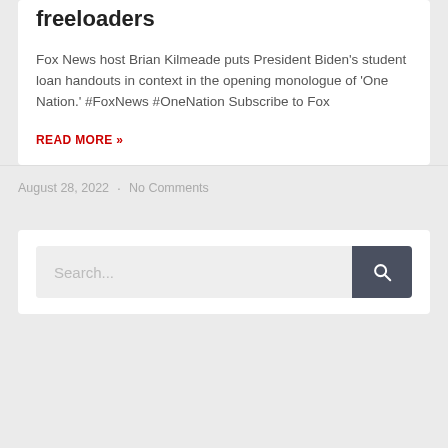freeloaders
Fox News host Brian Kilmeade puts President Biden's student loan handouts in context in the opening monologue of 'One Nation.' #FoxNews #OneNation Subscribe to Fox
READ MORE »
August 28, 2022  ·  No Comments